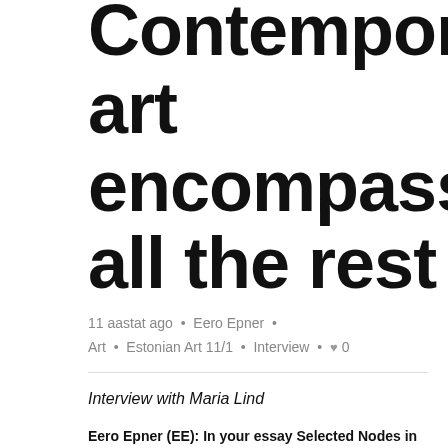Contemporary art encompasses all the rest
11 aastat ago • Eero Epner • Art • Estonian Art 11/1 • Interview • ♥ 0
Interview with Maria Lind
Eero Epner (EE): In your essay Selected Nodes in a